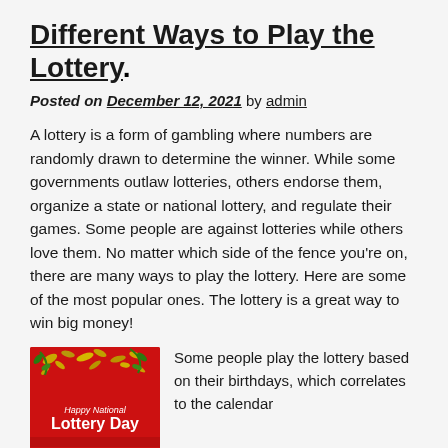Different Ways to Play the Lottery
Posted on December 12, 2021 by admin
A lottery is a form of gambling where numbers are randomly drawn to determine the winner. While some governments outlaw lotteries, others endorse them, organize a state or national lottery, and regulate their games. Some people are against lotteries while others love them. No matter which side of the fence you're on, there are many ways to play the lottery. Here are some of the most popular ones. The lottery is a great way to win big money!
[Figure (photo): Red promotional image for Happy National Lottery Day with gold confetti decorations and white text reading 'Happy National Lottery Day']
Some people play the lottery based on their birthdays, which correlates to the calendar